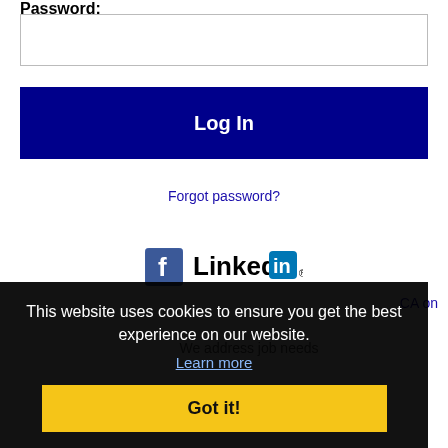Password:
[Figure (screenshot): Password input text box (empty)]
[Figure (screenshot): Log In button (dark navy blue background, white bold text)]
Forgot password?
[Figure (logo): Facebook logo icon and LinkedIn logo icon side by side]
This website uses cookies to ensure you get the best experience on our website.
Learn more
[Figure (screenshot): Got it! button (yellow background, bold black text)]
CA on
We address job needs